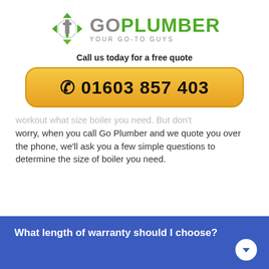[Figure (logo): Go Plumber logo with faucet/wrench icon and green arrows, text 'GO PLUMBER YOUR GO-TO GUYS']
Call us today for a free quote
📞 01603 857 403
workout what size boiler you need. But don't worry, when you call Go Plumber and we quote you over the phone, we'll ask you a few simple questions to determine the size of boiler you need.
What length of warranty should I choose?